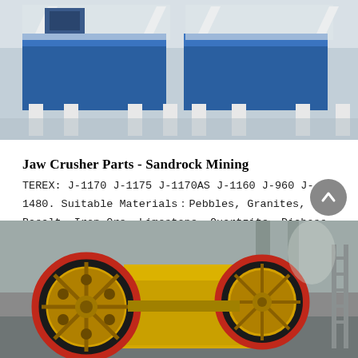[Figure (photo): Industrial mining machinery (possibly a vibrating screen or feeder) in blue and white colors on a gray factory floor.]
Jaw Crusher Parts - Sandrock Mining
TEREX: J-1170 J-1175 J-1170AS J-1160 J-960 J-1480. Suitable Materials：Pebbles, Granites, Basalt, Iron Ore, Limestone, Quartzite, Diabase, Iron Ore, Gold Ore, Copper Ore, etc....
[Figure (photo): Yellow jaw crusher machine with two large red and black flywheels in an industrial warehouse setting.]